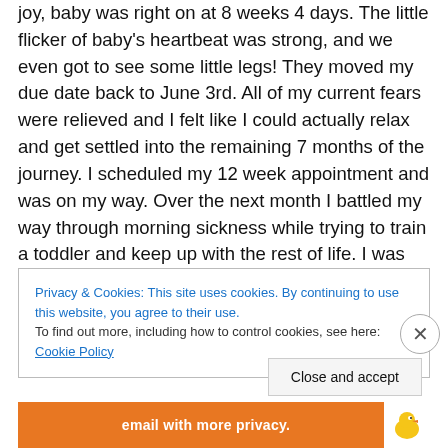joy, baby was right on at 8 weeks 4 days. The little flicker of baby's heartbeat was strong, and we even got to see some little legs! They moved my due date back to June 3rd. All of my current fears were relieved and I felt like I could actually relax and get settled into the remaining 7 months of the journey. I scheduled my 12 week appointment and was on my way. Over the next month I battled my way through morning sickness while trying to train a toddler and keep up with the rest of life. I was looking forward to the next appointment as it was going to be shortly before our trip to visit family for Thanksgiving
Privacy & Cookies: This site uses cookies. By continuing to use this website, you agree to their use.
To find out more, including how to control cookies, see here: Cookie Policy
Close and accept
email with more privacy.